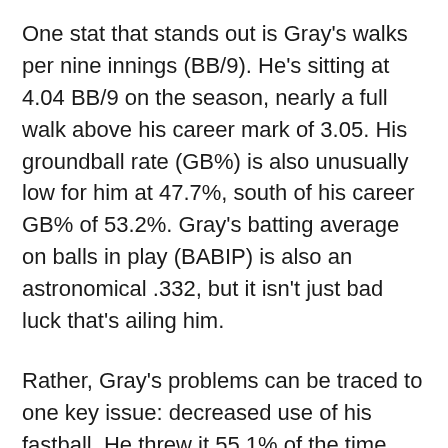One stat that stands out is Gray's walks per nine innings (BB/9). He's sitting at 4.04 BB/9 on the season, nearly a full walk above his career mark of 3.05. His groundball rate (GB%) is also unusually low for him at 47.7%, south of his career GB% of 53.2%. Gray's batting average on balls in play (BABIP) is also an astronomical .332, but it isn't just bad luck that's ailing him.
Rather, Gray's problems can be traced to one key issue: decreased use of his fastball. He threw it 55.1% of the time with Oakland and New York last year, but this year could not be more different. Gray has only thrown his fastball 33.5% of the time in 2018. Next, after that are his cutter (23.6%), which Gray also practically didn't throw last year.